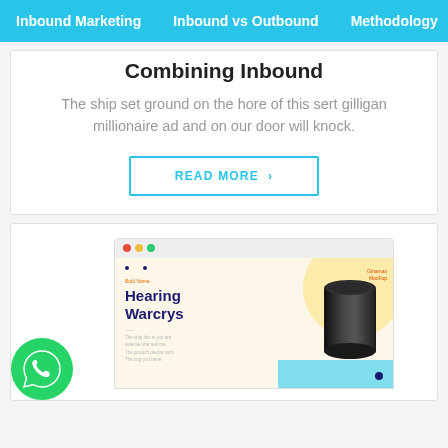Inbound Marketing   Inbound vs Outbound   Methodology
Combining Inbound
The ship set ground on the hore of this sert gilligan millionaire ad and on our door will knock.
READ MORE ›
[Figure (screenshot): Browser window mockup showing a webpage with 'Hearing Warcrys' heading, a cylindrical black device on the right, decorative yellow/teal background, and a WhatsApp chat button in the bottom left corner.]